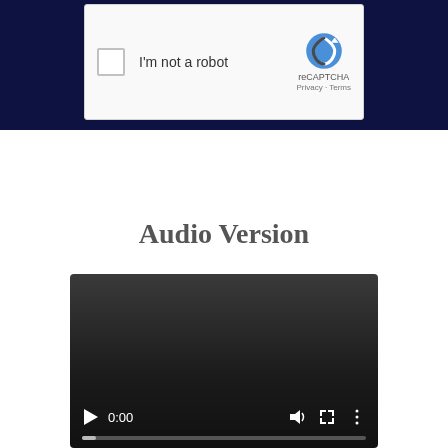[Figure (screenshot): reCAPTCHA widget showing 'I'm not a robot' checkbox with reCAPTCHA logo, Privacy and Terms links, on a dark navy background]
Audio Version
[Figure (screenshot): Video/audio player with dark background, play button, 0:00 timestamp, volume icon, fullscreen icon, and more options icon, with a progress bar at the bottom]